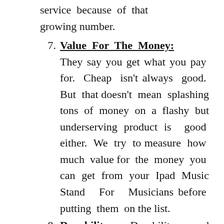service because of that growing number.
7. Value For The Money: They say you get what you pay for. Cheap isn't always good. But that doesn't mean splashing tons of money on a flashy but underserving product is good either. We try to measure how much value for the money you can get from your Ipad Music Stand For Musicians before putting them on the list.
8. Durability: Durability and reliability go hand to